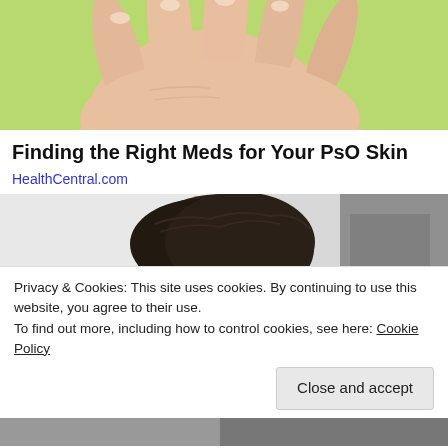[Figure (photo): Close-up photo of an open palm and fingers against a green background, showing skin texture relevant to psoriasis content]
Finding the Right Meds for Your PsO Skin
HealthCentral.com
[Figure (photo): Black and white photo of a person with dark hair, head bowed or turned down]
Privacy & Cookies: This site uses cookies. By continuing to use this website, you agree to their use.
To find out more, including how to control cookies, see here: Cookie Policy
Close and accept
[Figure (photo): Partial photo visible at bottom of page, appears grey/dark]